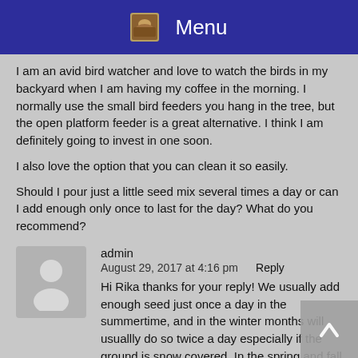Menu
I am an avid bird watcher and love to watch the birds in my backyard when I am having my coffee in the morning. I normally use the small bird feeders you hang in the tree, but the open platform feeder is a great alternative. I think I am definitely going to invest in one soon.
I also love the option that you can clean it so easily.
Should I pour just a little seed mix several times a day or can I add enough only once to last for the day? What do you recommend?
admin
August 29, 2017 at 4:16 pm    Reply
Hi Rika thanks for your reply!  We usually add enough seed just once a day in the summertime,  and in the winter months will usuallly do so twice a day especially if the ground is snow covered.  In the spring and fall it could be once or twice a day